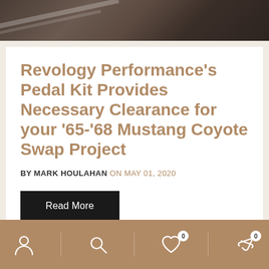[Figure (photo): Hero image showing a road or automotive scene with dark brownish-grey tones and diagonal light streaks]
Revology Performance’s Pedal Kit Provides Necessary Clearance for your ‘65-‘68 Mustang Coyote Swap Project
BY MARK HOULAHAN ON MAY 01, 2020
Read More